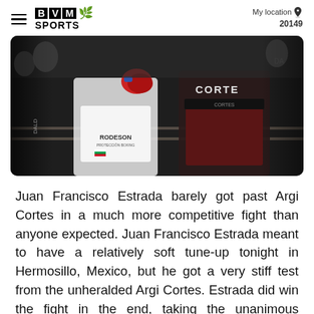BVM SPORTS | My location 20149
[Figure (photo): Boxing match photo showing two fighters in the ring; one wearing RODESON branded shorts and the other wearing CORTES branded shorts. Dark background, close-up action shot.]
Juan Francisco Estrada barely got past Argi Cortes in a much more competitive fight than anyone expected. Juan Francisco Estrada meant to have a relatively soft tune-up tonight in Hermosillo, Mexico, but he got a very stiff test from the unheralded Argi Cortes. Estrada did win the fight in the end, taking the unanimous decision on scores of 114-113, 115-112,...